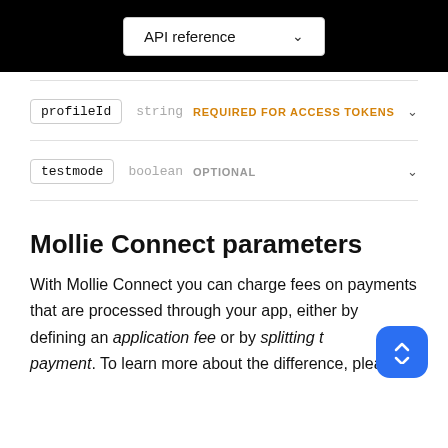API reference
profileId   string   REQUIRED FOR ACCESS TOKENS
testmode   boolean   OPTIONAL
Mollie Connect parameters
With Mollie Connect you can charge fees on payments that are processed through your app, either by defining an application fee or by splitting the payment. To learn more about the difference, please